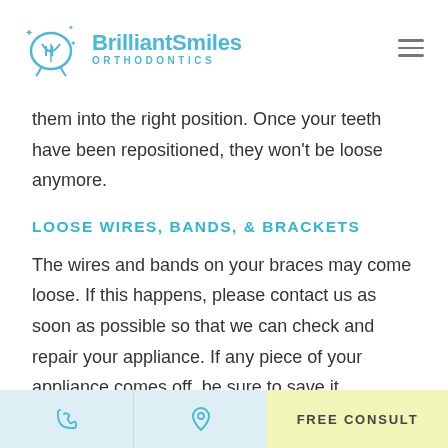BrilliantSmiles ORTHODONTICS
them into the right position. Once your teeth have been repositioned, they won't be loose anymore.
LOOSE WIRES, BANDS, & BRACKETS
The wires and bands on your braces may come loose. If this happens, please contact us as soon as possible so that we can check and repair your appliance. If any piece of your appliance comes off, be sure to save it
FREE CONSULT